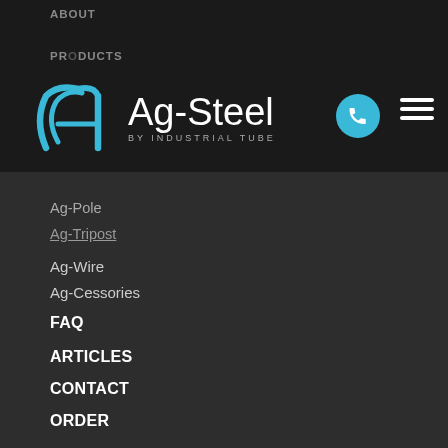[Figure (logo): Ag-Steel by Industrial Tube logo with blue stylized 'A' icon and white text]
ABOUT
PRODUCTS
Ag-Pole
Ag-Tripost
Ag-Wire
Ag-Cessories
FAQ
ARTICLES
CONTACT
ORDER
Address
278 Kahikatea Drive,
Frankton, Hamilton, New Zealand
PO Box
PO Box 9506, Hamilton 3240
General Enquiries
sales@agsteel.co.nz